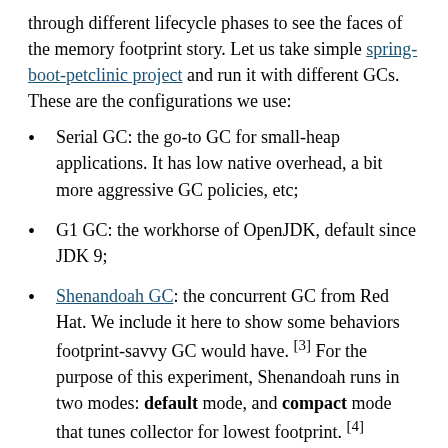through different lifecycle phases to see the faces of the memory footprint story. Let us take simple spring-boot-petclinic project and run it with different GCs. These are the configurations we use:
Serial GC: the go-to GC for small-heap applications. It has low native overhead, a bit more aggressive GC policies, etc;
G1 GC: the workhorse of OpenJDK, default since JDK 9;
Shenandoah GC: the concurrent GC from Red Hat. We include it here to show some behaviors footprint-savvy GC would have. [3] For the purpose of this experiment, Shenandoah runs in two modes: default mode, and compact mode that tunes collector for lowest footprint. [4]